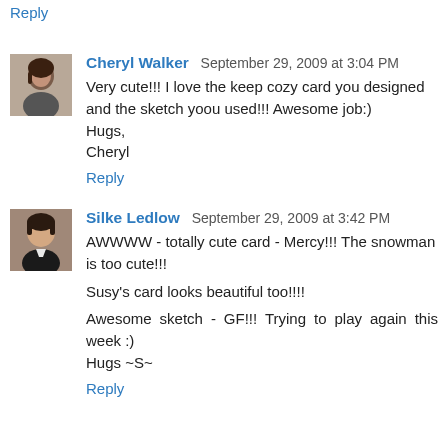Reply
[Figure (photo): Avatar photo of Cheryl Walker, a woman with dark hair]
Cheryl Walker  September 29, 2009 at 3:04 PM
Very cute!!! I love the keep cozy card you designed and the sketch yoou used!!! Awesome job:)
Hugs,
Cheryl
Reply
[Figure (photo): Avatar photo of Silke Ledlow, a woman with short dark hair]
Silke Ledlow  September 29, 2009 at 3:42 PM
AWWWW - totally cute card - Mercy!!! The snowman is too cute!!!
Susy's card looks beautiful too!!!!
Awesome sketch - GF!!! Trying to play again this week :)
Hugs ~S~
Reply